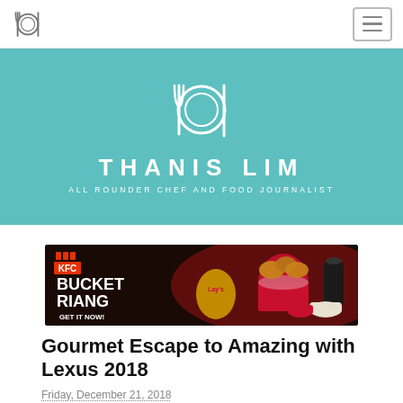Thanis Lim - All Rounder Chef and Food Journalist
[Figure (logo): Thanis Lim blog logo with plate, fork and chopsticks icon, text THANIS LIM, ALL ROUNDER CHEF AND FOOD JOURNALIST]
[Figure (photo): KFC Bucket Riang advertisement banner showing fried chicken bucket, Lays chips, rice, sauces with text KFC BUCKET RIANG GET IT NOW!]
Gourmet Escape to Amazing with Lexus 2018
Friday, December 21, 2018